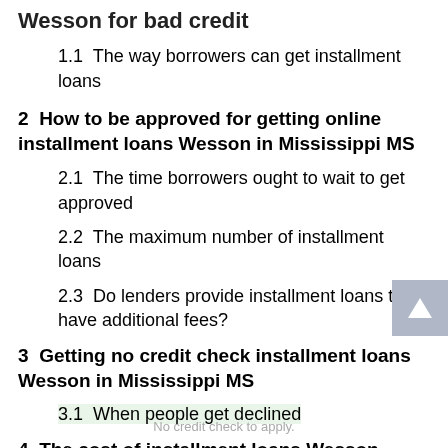Wesson for bad credit
1.1  The way borrowers can get installment loans
2  How to be approved for getting online installment loans Wesson in Mississippi MS
2.1  The time borrowers ought to wait to get approved
2.2  The maximum number of installment loans
2.3  Do lenders provide installment loans that have additional fees?
3  Getting no credit check installment loans Wesson in Mississippi MS
3.1  When people get declined
4  The cost of installment loans Wesson direct lenders
No credit check to apply.